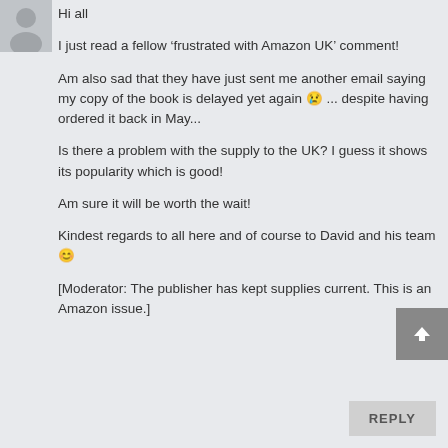[Figure (illustration): Partial avatar/profile image in top-left corner, grey silhouette]
Hi all

I just read a fellow ‘frustrated with Amazon UK’ comment!

Am also sad that they have just sent me another email saying my copy of the book is delayed yet again 😢 ... despite having ordered it back in May...

Is there a problem with the supply to the UK? I guess it shows its popularity which is good!

Am sure it will be worth the wait!

Kindest regards to all here and of course to David and his team 😊

[Moderator: The publisher has kept supplies current. This is an Amazon issue.]